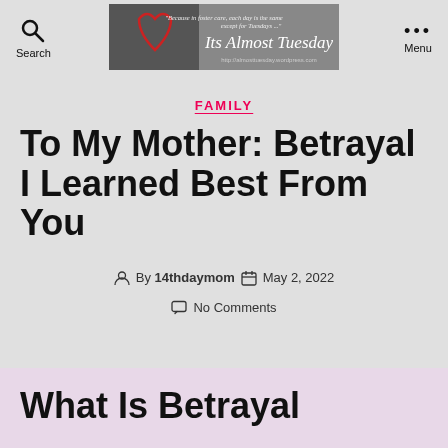Search | Its Almost Tuesday blog logo | Menu
FAMILY
To My Mother: Betrayal I Learned Best From You
By 14thdaymom   May 2, 2022   No Comments
What Is Betrayal